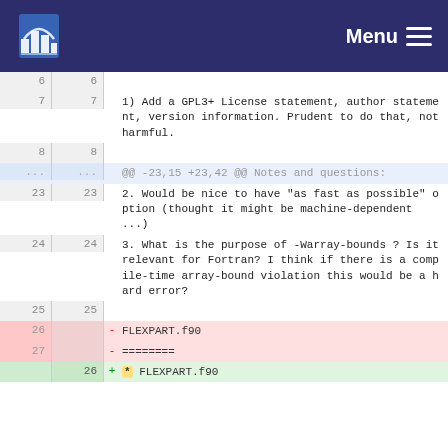NILU Menu
6   6
7   7   1) Add a GPL3+ License statement, author statement, version information. Prudent to do that, not harmful.
8   8
...  ...  @@ -23,15 +23,42 @@ Notes and questions:
23  23  2. Would be nice to have "as fast as possible" option (thought it might be machine-dependent ...)
24  24  3. What is the purpose of -Warray-bounds ? Is it relevant for Fortran? I think if there is a compile-time array-bound violation this would be a hard error?
25  25
26      -  FLEXPART.f90
27      -  ========
    26  +  * FLEXPART.f90